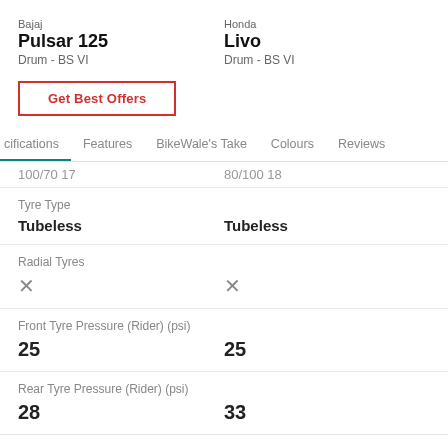Bajaj
Pulsar 125
Drum - BS VI
Honda
Livo
Drum - BS VI
Get Best Offers
cifications | Features | BikeWale's Take | Colours | Reviews
100/70 17 | 80/100 18
| Tyre Type |  |
| --- | --- |
| Tubeless | Tubeless |
| Radial Tyres |  |
| --- | --- |
| × | × |
| Front Tyre Pressure (Rider) (psi) |  |
| --- | --- |
| 25 | 25 |
| Rear Tyre Pressure (Rider) (psi) |  |
| --- | --- |
| 28 | 33 |